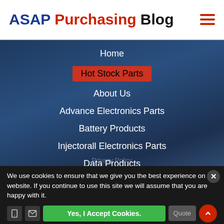ASAP Purchasing Blog
Home
Hot Stock Parts
About Us
Advance Electronics Parts
Battery Products
Injectorall Electronics Parts
Data Products
Contact Us
Resources
We use cookies to ensure that we give you the best experience on our website. If you continue to use this site we will assume that you are happy with it.